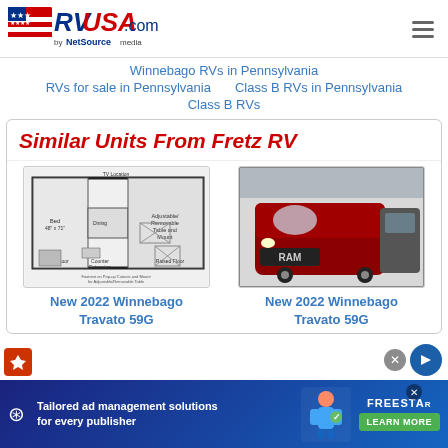[Figure (logo): RVUSA.com by NetSource media logo with American flag graphic]
Winnebago RVs in Pennsylvania
RVs for sale in Pennsylvania   Class B RVs in Pennsylvania
Class B RVs
Similar Units From Fretz RV
[Figure (illustration): Floor plan diagram of Winnebago Travato 59G]
[Figure (photo): Photo of red Winnebago Travato 59G van parked in lot]
New 2022 Winnebago Travato 59G
New 2022 Winnebago Travato 59G
[Figure (screenshot): Freestar ad banner: Tailored ad management solutions for every publisher with Learn More button]